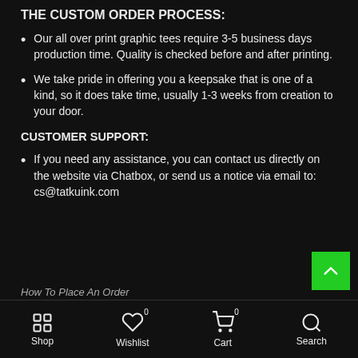THE CUSTOM ORDER PROCESS:
Our all over print graphic tees require 3-5 business days production time. Quality is checked before and after printing.
We take pride in offering you a keepsake that is one of a kind, so it does take time, usually 1-3 weeks from creation to your door.
CUSTOMER SUPPORT:
If you need any assistance, you can contact us directly on the website via Chatbox, or send us a notice via email to: cs@tatkuink.com
How To Place An Order
Shop  Wishlist 0  Cart 0  Search